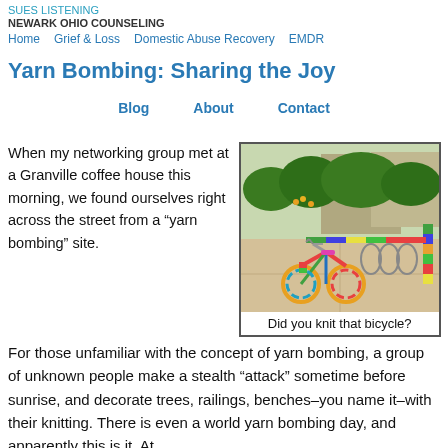SUES LISTENING
NEWARK OHIO COUNSELING
Home   Grief & Loss   Domestic Abuse Recovery   EMDR
Yarn Bombing: Sharing the Joy
Blog   About   Contact
When my networking group met at a Granville coffee house this morning, we found ourselves right across the street from a “yarn bombing” site.
[Figure (photo): A bicycle and a pole decorated with colorful yarn/knitting, parked next to a metal bike rack on a paved area with green bushes in the background.]
Did you knit that bicycle?
For those unfamiliar with the concept of yarn bombing, a group of unknown people make a stealth “attack” sometime before sunrise, and decorate trees, railings, benches–you name it–with their knitting. There is even a world yarn bombing day, and apparently this is it. At